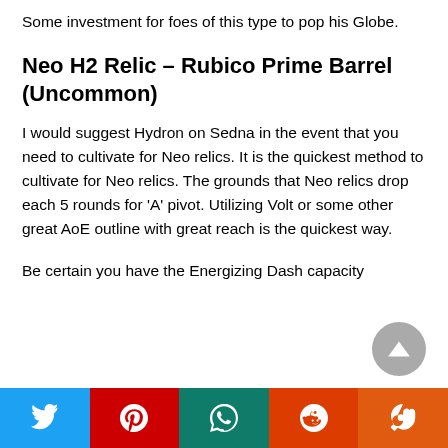Some investment for foes of this type to pop his Globe.
Neo H2 Relic – Rubico Prime Barrel (Uncommon)
I would suggest Hydron on Sedna in the event that you need to cultivate for Neo relics. It is the quickest method to cultivate for Neo relics. The grounds that Neo relics drop each 5 rounds for 'A' pivot. Utilizing Volt or some other great AoE outline with great reach is the quickest way.
Be certain you have the Energizing Dash capacity